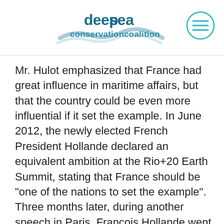deepsea conservationcoalition
Mr. Hulot emphasized that France had great influence in maritime affairs, but that the country could be even more influential if it set the example. In June 2012, the newly elected French President Hollande declared an equivalent ambition at the Rio+20 Earth Summit, stating that France should be "one of the nations to set the example". Three months later, during another speech in Paris, François Hollande went even